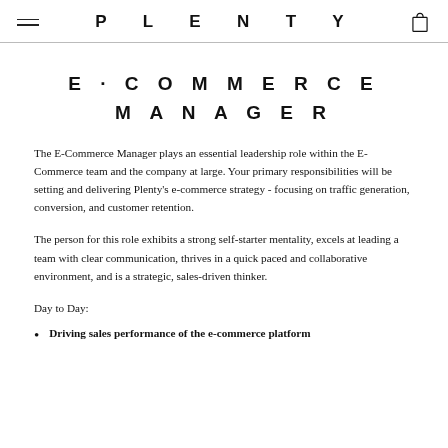PLENTY
E-COMMERCE MANAGER
The E-Commerce Manager plays an essential leadership role within the E-Commerce team and the company at large. Your primary responsibilities will be setting and delivering Plenty's e-commerce strategy - focusing on traffic generation, conversion, and customer retention.
The person for this role exhibits a strong self-starter mentality, excels at leading a team with clear communication, thrives in a quick paced and collaborative environment, and is a strategic, sales-driven thinker.
Day to Day:
Driving sales performance of the e-commerce platform